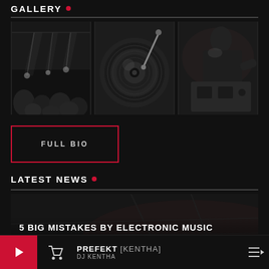GALLERY •
[Figure (photo): Concert crowd with lights, black and white]
[Figure (photo): DJ turntable close-up, black and white]
[Figure (photo): DJ performing at equipment, silhouette, black and white]
FULL BIO
LATEST NEWS •
5 BIG MISTAKES BY ELECTRONIC MUSIC PRODUCERS
DJ KENTHA | NOVEMBER 10, 2017
PREFEKT [KENTHA] DJ KENTHA